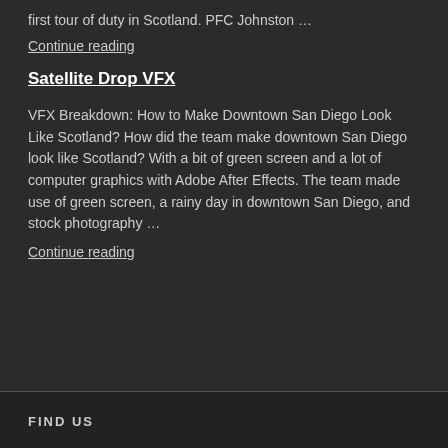first tour of duty in Scotland. PFC Johnston …
Continue reading
Satellite Drop VFX
VFX Breakdown: How to Make Downtown San Diego Look Like Scotland? How did the team make downtown San Diego look like Scotland? With a bit of green screen and a lot of computer graphics with Adobe After Effects. The team made use of green screen, a rainy day in downtown San Diego, and stock photography …
Continue reading
FIND US